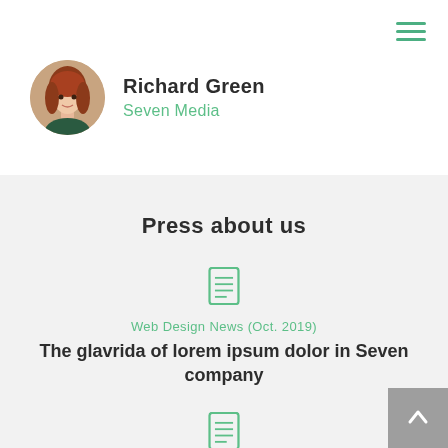[Figure (other): Hamburger menu icon with three horizontal green lines, top right corner]
[Figure (photo): Circular profile photo of a woman with red/auburn hair]
Richard Green
Seven Media
Press about us
[Figure (other): Document/article icon in green outline style]
Web Design News (Oct. 2019)
The glavrida of lorem ipsum dolor in Seven company
[Figure (other): Document/article icon in green outline style]
Web Design News (Oct. 2019)